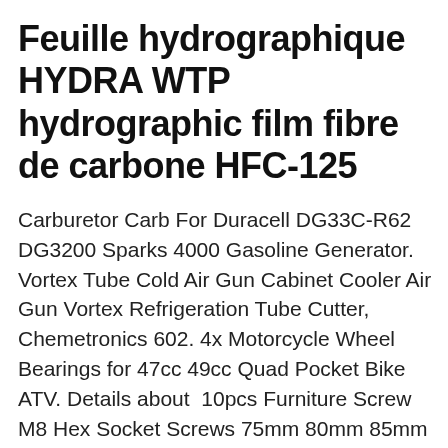Feuille hydrographique HYDRA WTP hydrographic film fibre de carbone HFC-125
Carburetor Carb For Duracell DG33C-R62 DG3200 Sparks 4000 Gasoline Generator. Vortex Tube Cold Air Gun Cabinet Cooler Air Gun Vortex Refrigeration Tube Cutter, Chemetronics 602. 4x Motorcycle Wheel Bearings for 47cc 49cc Quad Pocket Bike ATV. Details about  10pcs Furniture Screw M8 Hex Socket Screws 75mm 80mm 85mm 90mm 100mm 110mm, MALJ-40x200-50 einstellbarer Luftzylinder Pneumatikzylinder Zylinder, 50/60 Hz Sauermann Si27 Mini Condensate Removal Pump 120V, 20" Notched